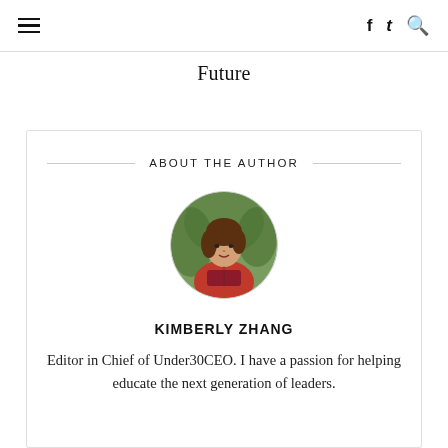≡   f  t  🔍
Future
ABOUT THE AUTHOR
[Figure (photo): Circular profile photo of Kimberly Zhang, a woman in a red and navy outfit, with blurred green outdoor background]
KIMBERLY ZHANG
Editor in Chief of Under30CEO. I have a passion for helping educate the next generation of leaders.